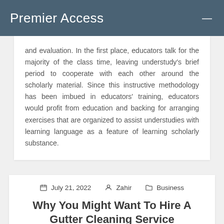Premier Access
and evaluation. In the first place, educators talk for the majority of the class time, leaving understudy's brief period to cooperate with each other around the scholarly material. Since this instructive methodology has been imbued in educators' training, educators would profit from education and backing for arranging exercises that are organized to assist understudies with learning language as a feature of learning scholarly substance.
July 21, 2022   Zahir   Business
Why You Might Want To Hire A Gutter Cleaning Service
What can occur assuming that you disregard your gutters?